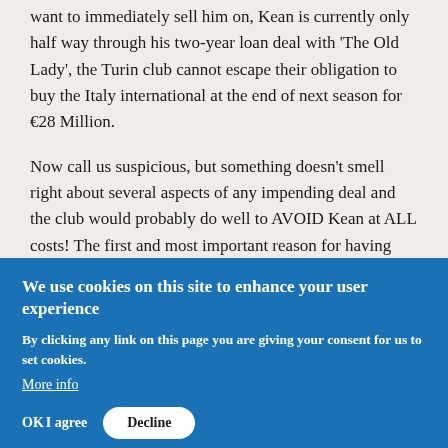want to immediately sell him on, Kean is currently only half way through his two-year loan deal with 'The Old Lady', the Turin club cannot escape their obligation to buy the Italy international at the end of next season for €28 Million.
Now call us suspicious, but something doesn't smell right about several aspects of any impending deal and the club would probably do well to AVOID Kean at ALL costs! The first and most important reason for having serious doubts is the player himself! If he was that good why did Juve sell him? If he was that good why did Everton get rid of him so quickly? and finally If he was that good why are Juve SO desperate to offload him again?
Kean could end up being an excellent addition for the Irons, he is built like a brick outhouse, but plays like one as well! He
We use cookies on this site to enhance your user experience
By clicking any link on this page you are giving your consent for us to set cookies.
More info
OK  I agree  Decline